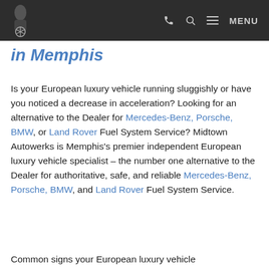MENU (navigation bar with phone and search icons)
in Memphis
Is your European luxury vehicle running sluggishly or have you noticed a decrease in acceleration? Looking for an alternative to the Dealer for Mercedes-Benz, Porsche, BMW, or Land Rover Fuel System Service? Midtown Autowerks is Memphis's premier independent European luxury vehicle specialist – the number one alternative to the Dealer for authoritative, safe, and reliable Mercedes-Benz, Porsche, BMW, and Land Rover Fuel System Service.
Common signs your European luxury vehicle